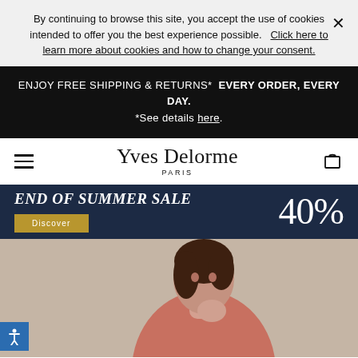By continuing to browse this site, you accept the use of cookies intended to offer you the best experience possible.   Click here to learn more about cookies and how to change your consent.
ENJOY FREE SHIPPING & RETURNS*  EVERY ORDER, EVERY DAY. *See details here.
[Figure (logo): Yves Delorme Paris logo with hamburger menu icon on left and bag icon on right]
[Figure (infographic): END OF SUMMER SALE 40% banner with Discover button on dark navy background]
[Figure (photo): Photo of a woman in a pink/salmon robe against beige background]